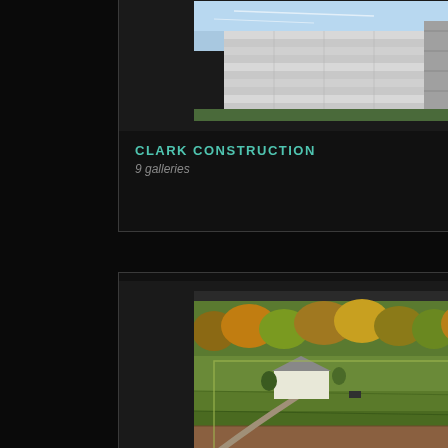[Figure (photo): Aerial or street-level photo of a modern multi-story glass and concrete building under construction or recently built, with trees nearby and blue sky in background]
CLARK CONSTRUCTION
9 galleries
[Figure (photo): Aerial photo of a rural property with a house, driveway, green fields and trees with autumn colors]
CLARK MCKENZIE
2 galleries